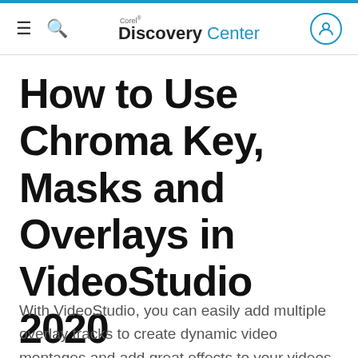Corel Discovery Center
How to Use Chroma Key, Masks and Overlays in VideoStudio 2020
With VideoStudio, you can easily add multiple overlay tracks to create dynamic video montages and add great effects to your videos.  You can also use Chroma